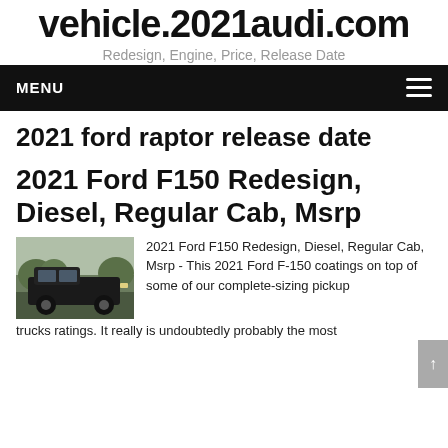vehicle.2021audi.com
Redesign, Engine, Price, Release Date
MENU
2021 ford raptor release date
2021 Ford F150 Redesign, Diesel, Regular Cab, Msrp
[Figure (photo): Dark-colored Ford F150 truck parked outdoors]
2021 Ford F150 Redesign, Diesel, Regular Cab, Msrp - This 2021 Ford F-150 coatings on top of some of our complete-sizing pickup trucks ratings. It really is undoubtedly probably the most